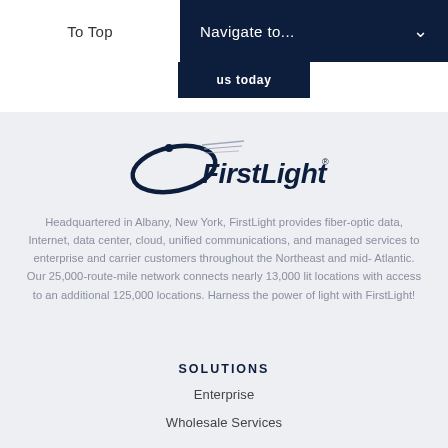To Top
Navigate to...
us today
[Figure (logo): FirstLight company logo with swoosh and speed lines]
Headquartered in Albany, New York, FirstLight provides fiber-optic data, Internet, data center, cloud, unified communications, and managed services to enterprise and carrier customers throughout the Northeast and mid-Atlantic. Our 25,000-route-mile network connects nearly 13,000 lit locations with access to an additional 125,000 locations. Harness the power of light with FirstLight!
SOLUTIONS
Enterprise
Wholesale Services